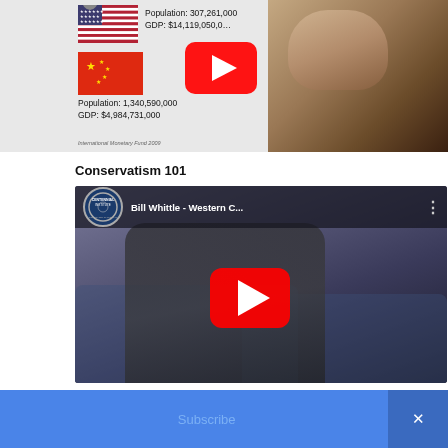[Figure (screenshot): YouTube video thumbnail showing US/China GDP and population comparison with man speaking, play button visible. Text shows Population: 307,261,000 GDP: $14,119,050,... for US and Population: 1,340,590,000 GDP: $4,984,731,000 for China. Source: International Monetary Fund 2009.]
Conservatism 101
[Figure (screenshot): YouTube video thumbnail for 'Bill Whittle - Western C...' hosted by Centennial Institute, showing man in suit gesturing, large red play button in center.]
Subscribe